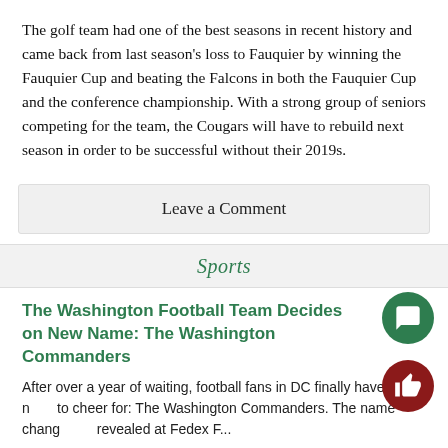The golf team had one of the best seasons in recent history and came back from last season's loss to Fauquier by winning the Fauquier Cup and beating the Falcons in both the Fauquier Cup and the conference championship. With a strong group of seniors competing for the team, the Cougars will have to rebuild next season in order to be successful without their 2019s.
Leave a Comment
Sports
The Washington Football Team Decides on New Name: The Washington Commanders
After over a year of waiting, football fans in DC finally have a name to cheer for: The Washington Commanders. The name change was revealed at Fedex F...